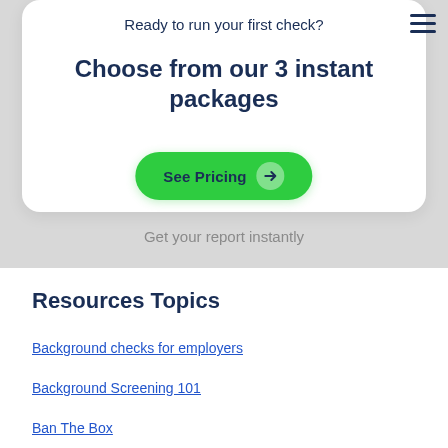Ready to run your first check?
Choose from our 3 instant packages
See Pricing →
Get your report instantly
Resources Topics
Background checks for employers
Background Screening 101
Ban The Box